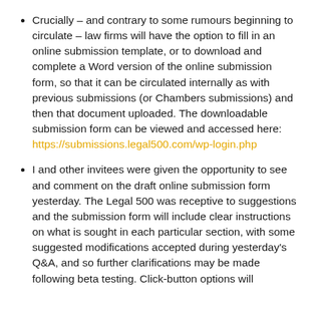Crucially – and contrary to some rumours beginning to circulate – law firms will have the option to fill in an online submission template, or to download and complete a Word version of the online submission form, so that it can be circulated internally as with previous submissions (or Chambers submissions) and then that document uploaded. The downloadable submission form can be viewed and accessed here: https://submissions.legal500.com/wp-login.php
I and other invitees were given the opportunity to see and comment on the draft online submission form yesterday. The Legal 500 was receptive to suggestions and the submission form will include clear instructions on what is sought in each particular section, with some suggested modifications accepted during yesterday's Q&A, and so further clarifications may be made following beta testing. Click-button options will